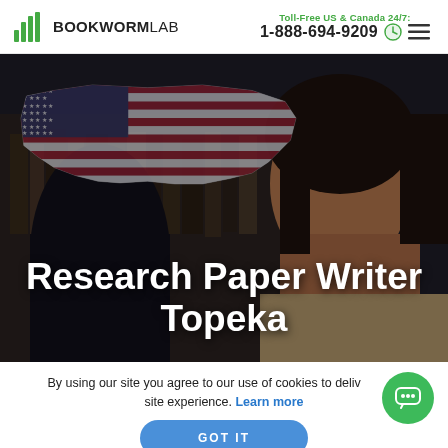Toll-Free US & Canada 24/7: 1-888-694-9209  BOOKWORMLAB
[Figure (photo): Hero image of a young woman studying with an American flag US map overlay on a dark library background. Bold white text reads 'Research Paper Writer Topeka'.]
Research Paper Writer Topeka
By using our site you agree to our use of cookies to deliver a better site experience. Learn more
GOT IT